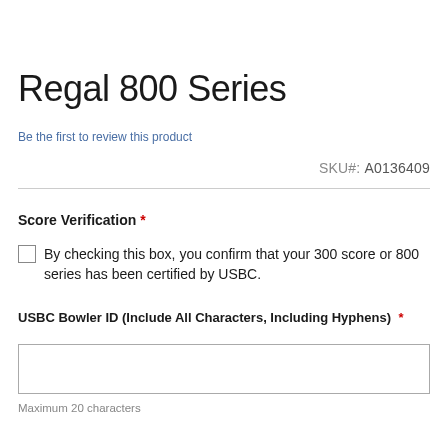Regal 800 Series
Be the first to review this product
SKU#: A0136409
Score Verification *
By checking this box, you confirm that your 300 score or 800 series has been certified by USBC.
USBC Bowler ID (Include All Characters, Including Hyphens) *
Maximum 20 characters